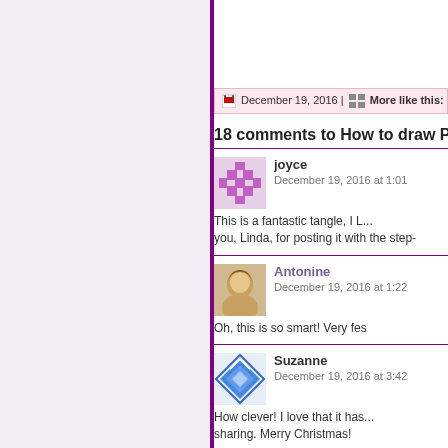December 19, 2016 | More like this:
18 comments to How to draw PAC
joyce
December 19, 2016 at 1:01
This is a fantastic tangle, I L... you, Linda, for posting it with the step-
Antonine
December 19, 2016 at 1:22
Oh, this is so smart! Very fes
Suzanne
December 19, 2016 at 3:42
How clever! I love that it has... sharing. Merry Christmas!